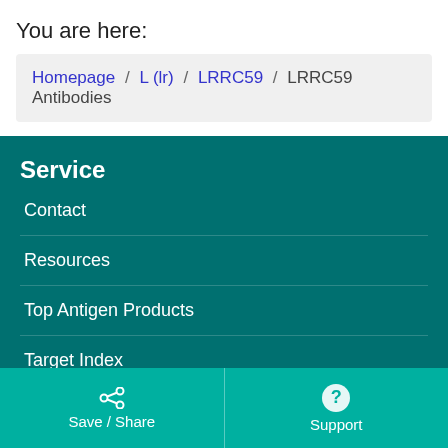You are here:
Homepage / L (lr) / LRRC59 / LRRC59 Antibodies
Service
Contact
Resources
Top Antigen Products
Target Index
Popular Categories
Save / Share   Support